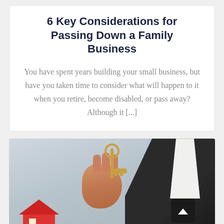6 Key Considerations for Passing Down a Family Business
You have spent years building your small business, but have you taken time to consider what will happen to it when you retire, become disabled, or pass away? Although it [...]
[Figure (photo): Photo of a person in a dark suit holding house keys above a small red model house, suggesting real estate or business transfer]